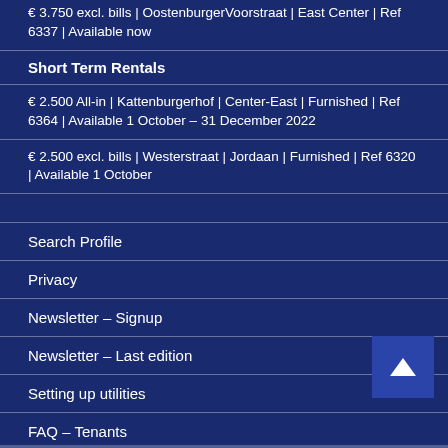€ 3.750 excl. bills | OostenburgerVoorstraat | East Center | Ref 6337 | Available now
Short Term Rentals
€ 2.500 All-in | Kattenburgerhof | Center-East | Furnished | Ref 6364 | Available 1 October – 31 December 2022
€ 2.500 excl. bills | Westerstraat | Jordaan | Furnished | Ref 6320 | Available 1 October
Search Profile
Privacy
Newsletter – Signup
Newsletter – Last edition
Setting up utilities
FAQ – Tenants
FAQ – Owners